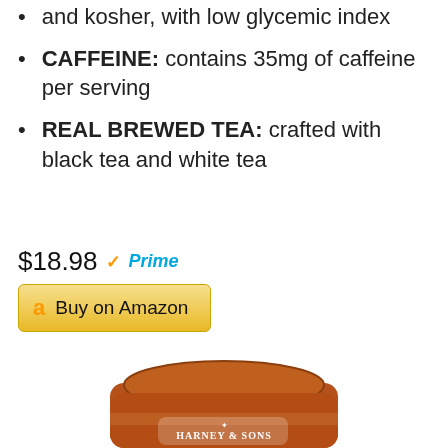and kosher, with low glycemic index
CAFFEINE: contains 35mg of caffeine per serving
REAL BREWED TEA: crafted with black tea and white tea
$18.98 ✓Prime
Buy on Amazon
[Figure (photo): Harney & Sons tea tin in copper/orange color with ornate design and logo on the front, viewed from slightly above showing the round lid]